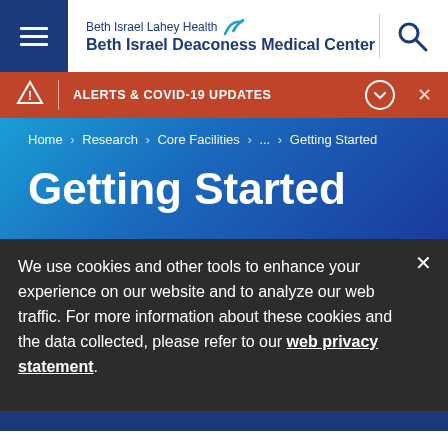Beth Israel Lahey Health Beth Israel Deaconess Medical Center
ALERTS & COVID-19 UPDATES
Home > Research > Core Facilities > ... > Getting Started
Getting Started
We use cookies and other tools to enhance your experience on our website and to analyze our web traffic. For more information about these cookies and the data collected, please refer to our web privacy statement.